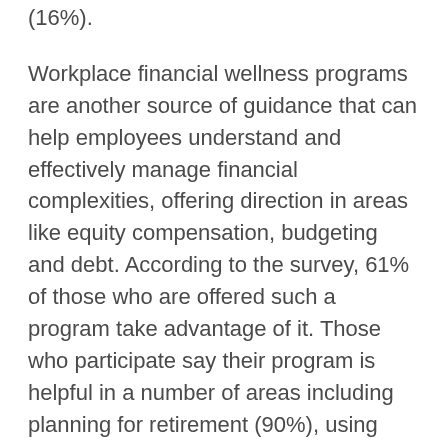(16%).
Workplace financial wellness programs are another source of guidance that can help employees understand and effectively manage financial complexities, offering direction in areas like equity compensation, budgeting and debt. According to the survey, 61% of those who are offered such a program take advantage of it. Those who participate say their program is helpful in a number of areas including planning for retirement (90%), using equity compensation to reach financial goals (84%), investing skills (83%), balancing equity compensation with other investments (82%), and developing a financial plan (82%).